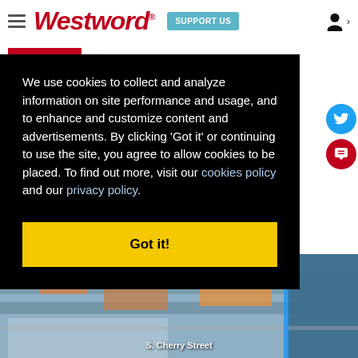Westword — SUPPORT US
FILTER
We use cookies to collect and analyze information on site performance and usage, and to enhance and customize content and advertisements. By clicking 'Got it' or continuing to use the site, you agree to allow cookies to be placed. To find out more, visit our cookies policy and our privacy policy.
Got it!
[Figure (photo): Aerial photo of urban area showing S. Cherry Street]